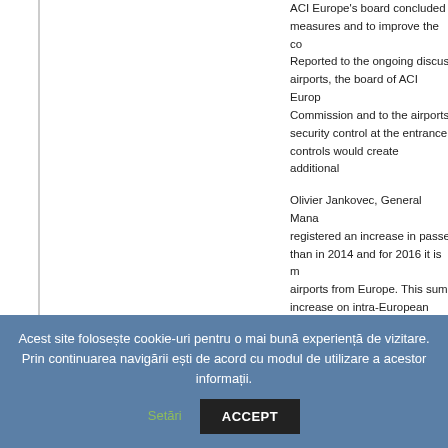ACI Europe's board concluded measures and to improve the co Reported to the ongoing discus airports, the board of ACI Europ Commission and to the airports security control at the entrance controls would create additional
Olivier Jankovec, General Mana registered an increase in passe than in 2014 and for 2016 it is m airports from Europe. This sum increase on intra-European rout capacity and gaining market sha meeting the traffic situation in R of traffic at Cluj Avram Iancu Int increase of Cluj airport traffic wi trends manifested at some Euro threat sand to the political instal important partners for them.
The board's decisions were disc the General Assembly of ACI E
Acest site folosește cookie-uri pentru o mai bună experiență de vizitare. Prin continuarea navigării ești de acord cu modul de utilizare a acestor informații.